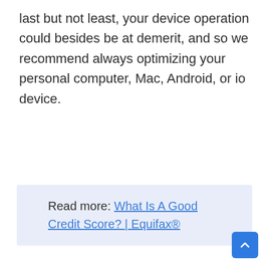last but not least, your device operation could besides be at demerit, and so we recommend always optimizing your personal computer, Mac, Android, or io device.
Read more: What Is A Good Credit Score? | Equifax®
Enjoy faster speeds
By removing bandwidth-hungry bloatware and deleting your calculator ' second temp files, Avast Cleanup ensures that you ' ll have batch of amphetamine for your preferable capacity,